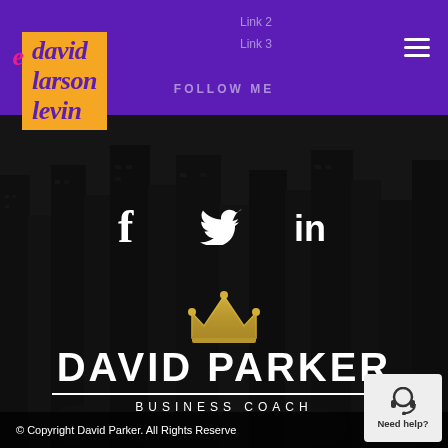[Figure (logo): David Larson Levine logo in italic serif font on orange background, within purple header bar]
Link 2
Link 3
FOLLOW ME
DAVID PARKER
BUSINESS COACH
[Figure (illustration): Crown icon in gold color above the name David Parker]
[Figure (infographic): Social media icons: Facebook (f), Twitter (bird), LinkedIn (in) in white on dark city background]
© Copyright David Parker. All Rights Reserved
[Figure (illustration): Need help button with headset icon in bottom right corner]